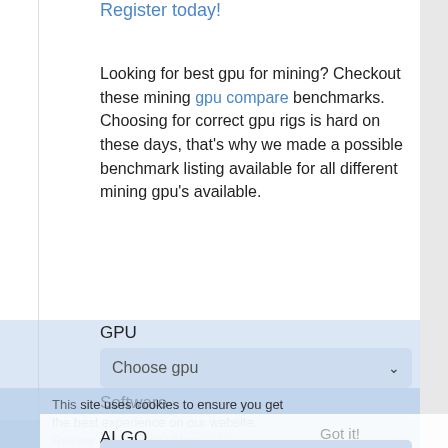Register today!
Looking for best gpu for mining? Checkout these mining gpu compare benchmarks. Choosing for correct gpu rigs is hard on these days, that's why we made a possible benchmark listing available for all different mining gpu's available.
GPU
[Figure (screenshot): Dropdown box labeled 'Choose gpu' with chevron icon, light blue background]
This site uses cookies to ensure you get the best experience on our website. Review our privacy policy
Software
[Figure (screenshot): Dropdown box labeled 'Choose software' with chevron icon, light blue background]
Got it!
ALGO
[Figure (screenshot): Dropdown box labeled 'Choose algo' with chevron icon, light blue background]